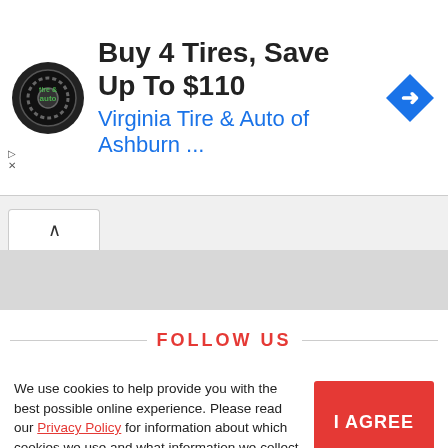[Figure (screenshot): Advertisement banner for Virginia Tire & Auto of Ashburn featuring a circular tire & auto logo, headline 'Buy 4 Tires, Save Up To $110', blue subheading 'Virginia Tire & Auto of Ashburn ...', and a blue diamond navigation arrow icon on the right.]
[Figure (screenshot): Browser tab bar with a single open tab showing an upward caret (^) icon, and a gray content area below it.]
FOLLOW US
We use cookies to help provide you with the best possible online experience. Please read our Privacy Policy for information about which cookies we use and what information we collect on our site. By continuing to use this site, you agree that we may store and access cookies on your device.